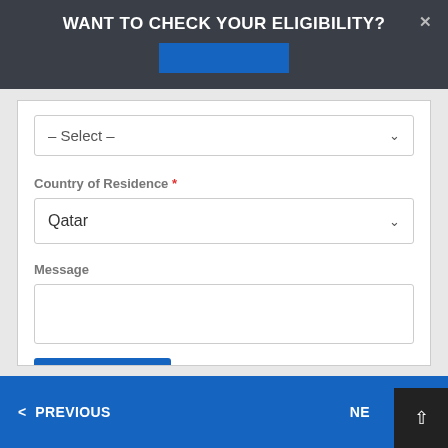WANT TO CHECK YOUR ELIGIBILITY?
[Figure (screenshot): Blue rectangular button/bar in modal header]
– Select –
Country of Residence *
Qatar
Message
SUBMIT FORM
< PREVIOUS   NE...